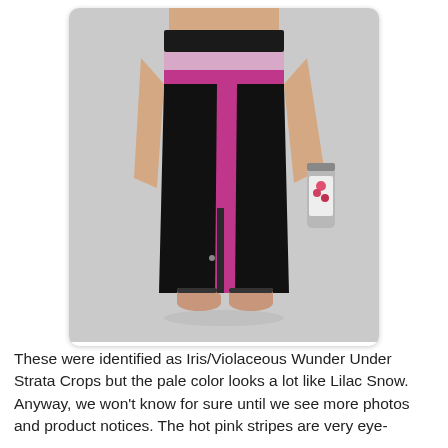[Figure (photo): Back view of a person wearing black crop leggings with a wide black waistband, a pale pink/lilac stripe, and a hot pink/magenta side stripe running down the left leg. The person is barefoot and holding a silver water bottle with a floral design in their right hand. The background is light gray.]
These were identified as Iris/Violaceous Wunder Under Strata Crops but the pale color looks a lot like Lilac Snow. Anyway, we won't know for sure until we see more photos and product notices. The hot pink stripes are very eye-